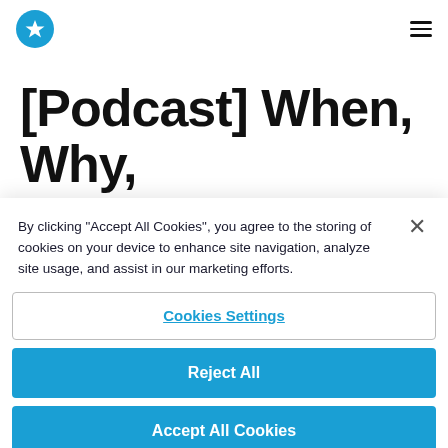[logo star icon] [hamburger menu]
[Podcast] When, Why,
By clicking “Accept All Cookies”, you agree to the storing of cookies on your device to enhance site navigation, analyze site usage, and assist in our marketing efforts.
Cookies Settings
Reject All
Accept All Cookies